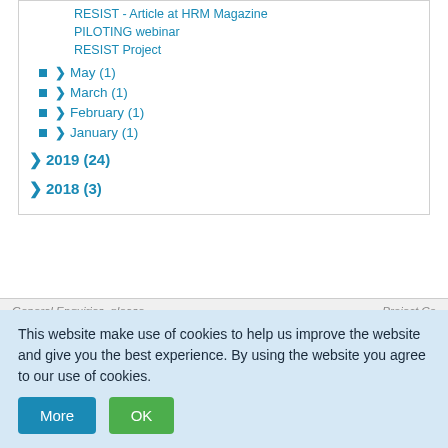RESIST - Article at HRM Magazine
PILOTING webinar
RESIST Project
May (1)
March (1)
February (1)
January (1)
2019 (24)
2018 (3)
General Enquiries, please
Project Co
This website make use of cookies to help us improve the website and give you the best experience. By using the website you agree to our use of cookies.